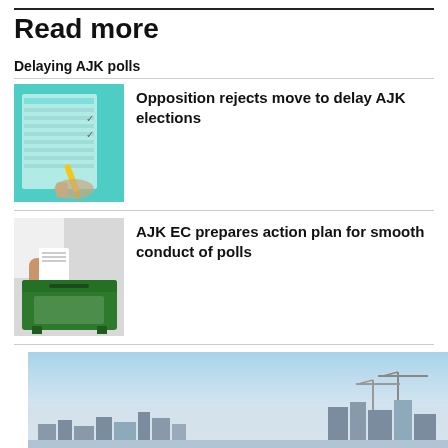Read more
Delaying AJK polls
[Figure (photo): Hands marking a ballot paper with a pencil]
Opposition rejects move to delay AJK elections
[Figure (photo): A hand inserting a ballot into a green ballot box]
AJK EC prepares action plan for smooth conduct of polls
[Figure (photo): City skyline with hazy sky and construction cranes]